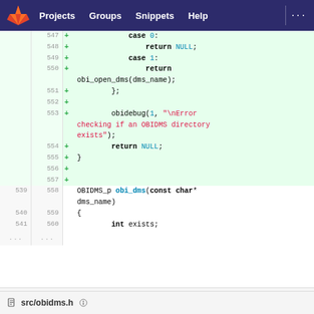GitLab navigation: Projects, Groups, Snippets, Help
[Figure (screenshot): Code diff view showing lines 547-560 of a C source file with added lines highlighted in green. Added lines include: case 0: return NULL; case 1: return obi_open_dms(dms_name); }; obidebug(1, '\nError checking if an OBIDMS directory exists'); return NULL; } and normal lines: OBIDMS_p obi_dms(const char* dms_name), {, int exists;]
src/obidms.h